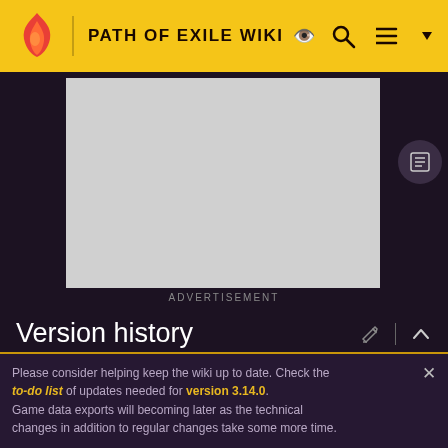PATH OF EXILE WIKI
[Figure (screenshot): Advertisement placeholder - grey rectangle]
ADVERTISEMENT
Version history
| Version | Changes |
| --- | --- |
| 3.15.0 | Bottled Faith no longer has +1-2% to Critical |
Please consider helping keep the wiki up to date. Check the to-do list of updates needed for version 3.14.0. Game data exports will becoming later as the technical changes in addition to regular changes take some more time.